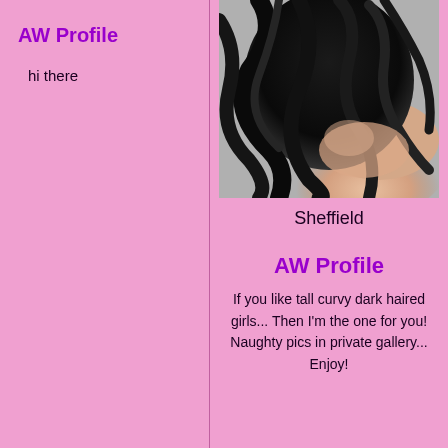AW Profile
hi there
[Figure (photo): Close-up photo of a person with long dark curly hair, head tilted back, light skin visible on shoulder/neck area.]
Sheffield
AW Profile
If you like tall curvy dark haired girls... Then I'm the one for you! Naughty pics in private gallery... Enjoy!